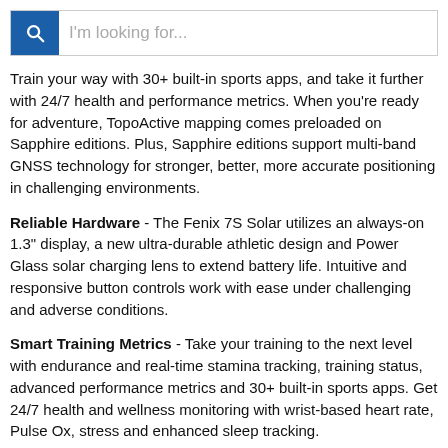[Figure (screenshot): Search bar with blue magnifying glass icon on the left and placeholder text 'I'm looking for...']
Train your way with 30+ built-in sports apps, and take it further with 24/7 health and performance metrics. When you're ready for adventure, TopoActive mapping comes preloaded on Sapphire editions. Plus, Sapphire editions support multi-band GNSS technology for stronger, better, more accurate positioning in challenging environments.
Reliable Hardware - The Fenix 7S Solar utilizes an always-on 1.3" display, a new ultra-durable athletic design and Power Glass solar charging lens to extend battery life. Intuitive and responsive button controls work with ease under challenging and adverse conditions.
Smart Training Metrics - Take your training to the next level with endurance and real-time stamina tracking, training status, advanced performance metrics and 30+ built-in sports apps. Get 24/7 health and wellness monitoring with wrist-based heart rate, Pulse Ox, stress and enhanced sleep tracking.
Navigate the Outdoors - Supports multi-GNSS satellite systems (GPS, GLONASS and Galileo). Enjoy preloaded maps for thousands of golf courses and ski resorts worldwide; download